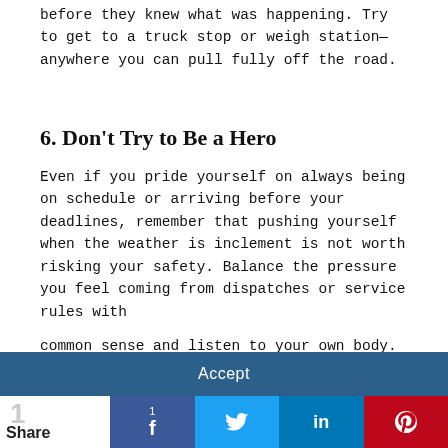before they knew what was happening. Try to get to a truck stop or weigh station—anywhere you can pull fully off the road.
6. Don't Try to Be a Hero
Even if you pride yourself on always being on schedule or arriving before your deadlines, remember that pushing yourself when the weather is inclement is not worth risking your safety. Balance the pressure you feel coming from dispatches or service rules with
We use cookies to give you the best experience on our website. By clicking 'Accept' you are consenting to the use of this data as outlined in our Privacy and Cookie Policy.